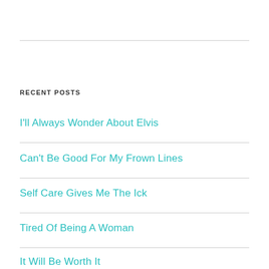RECENT POSTS
I'll Always Wonder About Elvis
Can't Be Good For My Frown Lines
Self Care Gives Me The Ick
Tired Of Being A Woman
It Will Be Worth It